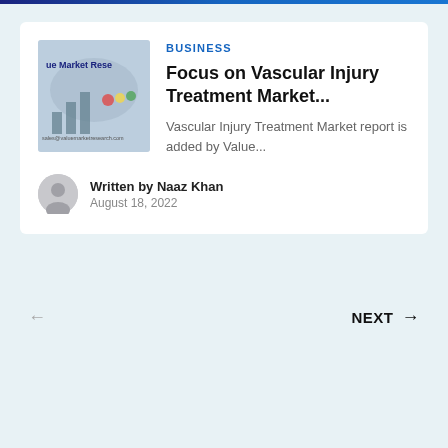[Figure (photo): Thumbnail image of a market research report cover with text 'Market Research' and sales email visible]
BUSINESS
Focus on Vascular Injury Treatment Market...
Vascular Injury Treatment Market report is added by Value...
[Figure (photo): Grey circle avatar/profile image for author Naaz Khan]
Written by Naaz Khan
August 18, 2022
← NEXT →